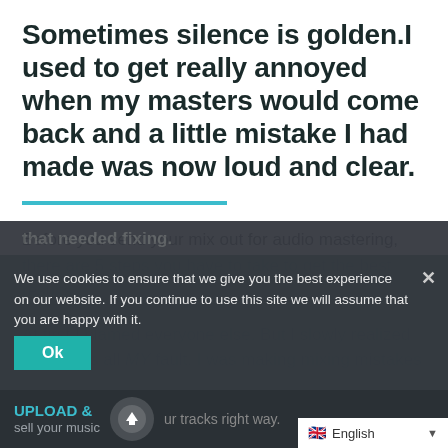Sometimes silence is golden.I used to get really annoyed when my masters would come back and a little mistake I had made was now loud and clear.
Before you send your mix out for audio mastering, there are 5 steps you have to take to get the best results.
At first I blamed everyone else. But I slowly realized that it was all MY fault. I was making mixing mistakes that needed fixing.
Don't make the same mistakes I did. Follow these 5 steps to upload & ur tracks the right way.
We use cookies to ensure that we give you the best experience on our website. If you continue to use this site we will assume that you are happy with it.